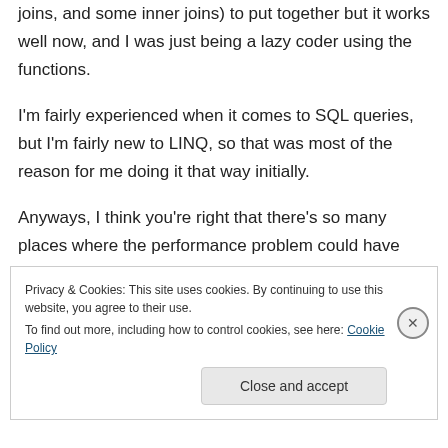joins, and some inner joins) to put together but it works well now, and I was just being a lazy coder using the functions.
I'm fairly experienced when it comes to SQL queries, but I'm fairly new to LINQ, so that was most of the reason for me doing it that way initially.
Anyways, I think you're right that there's so many places where the performance problem could have been, but figured I'd check if anyone
Privacy & Cookies: This site uses cookies. By continuing to use this website, you agree to their use.
To find out more, including how to control cookies, see here: Cookie Policy
Close and accept